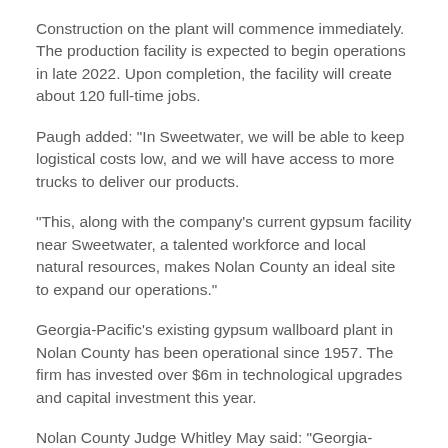Construction on the plant will commence immediately. The production facility is expected to begin operations in late 2022. Upon completion, the facility will create about 120 full-time jobs.
Paugh added: "In Sweetwater, we will be able to keep logistical costs low, and we will have access to more trucks to deliver our products.
"This, along with the company's current gypsum facility near Sweetwater, a talented workforce and local natural resources, makes Nolan County an ideal site to expand our operations."
Georgia-Pacific's existing gypsum wallboard plant in Nolan County has been operational since 1957. The firm has invested over $6m in technological upgrades and capital investment this year.
Nolan County Judge Whitley May said: "Georgia-Pacific's